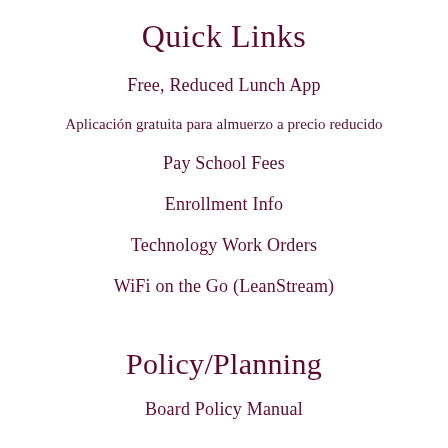Quick Links
Free, Reduced Lunch App
Aplicación gratuita para almuerzo a precio reducido
Pay School Fees
Enrollment Info
Technology Work Orders
WiFi on the Go (LeanStream)
Policy/Planning
Board Policy Manual